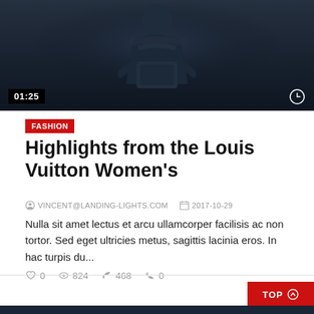[Figure (photo): Video thumbnail showing a dark-toned fashion photo with a person, with a duration badge '01:25' in bottom-left and a clock/watch icon in bottom-right]
FASHION
Highlights from the Louis Vuitton Women's
VINCENT@LANDING-LIGHTS.COM   2017-10-29
Nulla sit amet lectus et arcu ullamcorper facilisis ac non tortor. Sed eget ultricies metus, sagittis lacinia eros. In hac turpis du...
0  824  468  0
TOP ⊕